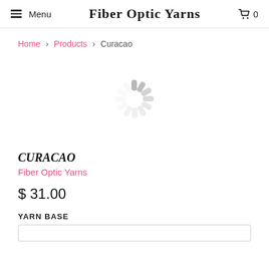Menu  Fiber Optic Yarns  0
Home > Products > Curacao
[Figure (illustration): Loading spinner / activity indicator graphic made of gray rounded bars radiating from center]
CURACAO
Fiber Optic Yarns
$ 31.00
YARN BASE